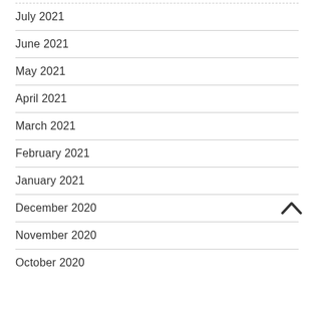July 2021
June 2021
May 2021
April 2021
March 2021
February 2021
January 2021
December 2020
November 2020
October 2020